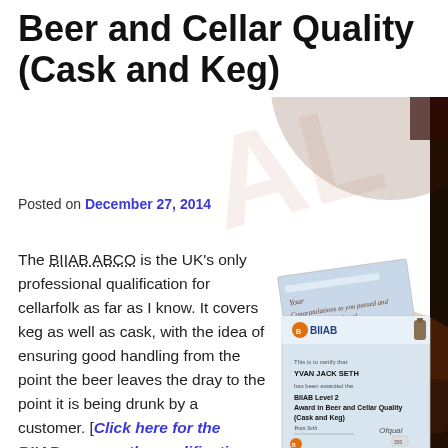Beer and Cellar Quality (Cask and Keg)
Posted on December 27, 2014
The BIIAB ABCO is the UK's only professional qualification for cellarfolk as far as I know. It covers keg as well as cask, with the idea of ensuring good handling from the point the beer leaves the dray to the point it is being drunk by a customer. [Click here for the BIIAB page on the qualification, which is pretty limited in information or click here
[Figure (photo): BIIAB Level 2 Award in Beer and Cellar Quality (Cask and Keg) certificate and an accompanying letter, both branded with BIIAB and Ofqual logos. The certificate is awarded to YVAN JACK SETH.]